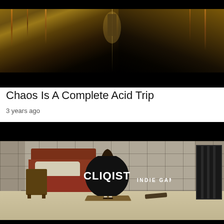[Figure (screenshot): Top portion of a game screenshot showing outdoor scene with grassy/fiery environment, split vertically in the center, with black bars at top and bottom]
Chaos Is A Complete Acid Trip
3 years ago
[Figure (screenshot): Game screenshot of a stone-tiled room with a bed, nightstand, barred door on the right, a cartoon character wearing a witch hat and colorful dress standing on a mat in the center. CLIQIST INDIE GAMING logo overlaid in the middle.]